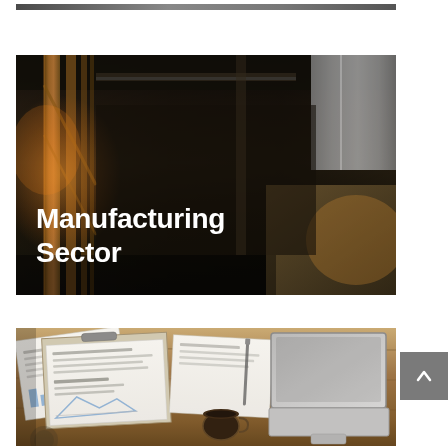[Figure (photo): Partial top strip of a dark industrial/factory photo]
[Figure (photo): Dark industrial factory interior with orange structural beams and metallic cylinder on right side, with white bold text 'Manufacturing Sector' overlaid at bottom left]
[Figure (photo): Top-down view of a wooden desk with financial documents, charts, a clipboard, coffee cup, and a laptop keyboard visible]